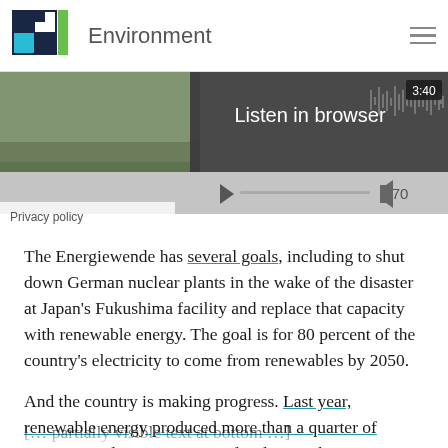Environment
[Figure (screenshot): Audio player widget showing 'Listen in browser' text, waveform visualization, timestamp 3:40, play button, and volume 70. Aerial photo of landscape visible on left. Privacy policy label at bottom left.]
The Energiewende has several goals, including to shut down German nuclear plants in the wake of the disaster at Japan's Fukushima facility and replace that capacity with renewable energy. The goal is for 80 percent of the country's electricity to come from renewables by 2050.
And the country is making progress. Last year, renewable energy produced more than a quarter of Germany's electricity. But coal's place in the German energy mix is holding steady — at least for now.